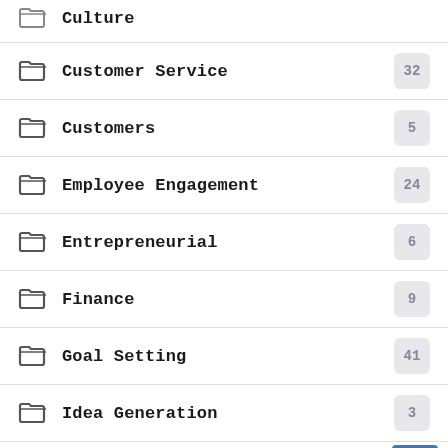Culture
Customer Service
Customers
Employee Engagement
Entrepreneurial
Finance
Goal Setting
Idea Generation
Lead Generation